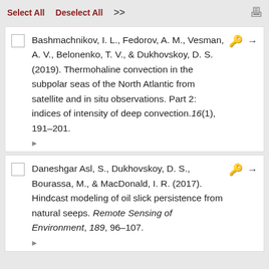Select All   Deselect All   >>
Bashmachnikov, I. L., Fedorov, A. M., Vesman, A. V., Belonenko, T. V., & Dukhovskoy, D. S. (2019). Thermohaline convection in the subpolar seas of the North Atlantic from satellite and in situ observations. Part 2: indices of intensity of deep convection. 16(1), 191–201.
Daneshgar Asl, S., Dukhovskoy, D. S., Bourassa, M., & MacDonald, I. R. (2017). Hindcast modeling of oil slick persistence from natural seeps. Remote Sensing of Environment, 189, 96–107.